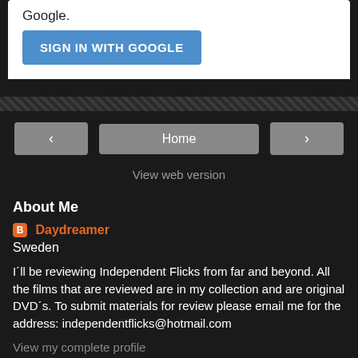Google.
[Figure (other): Blue 'SIGN IN WITH GOOGLE' button]
[Figure (other): Navigation bar with left arrow, Home button, right arrow, and View web version link]
About Me
Daydreamer
Sweden
I´ll be reviewing Independent Flicks from far and beyond. All the films that are reviewed are in my collection and are original DVD´s. To submit materials for review please email me for the address: independentflicks@hotmail.com
View my complete profile
Powered by Blogger.